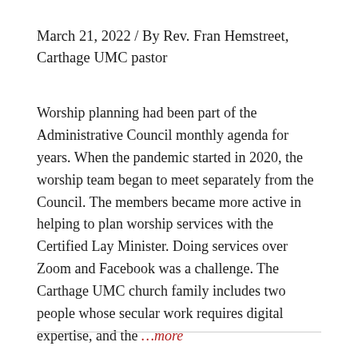March 21, 2022 / By Rev. Fran Hemstreet, Carthage UMC pastor
Worship planning had been part of the Administrative Council monthly agenda for years. When the pandemic started in 2020, the worship team began to meet separately from the Council. The members became more active in helping to plan worship services with the Certified Lay Minister. Doing services over Zoom and Facebook was a challenge. The Carthage UMC church family includes two people whose secular work requires digital expertise, and the …more